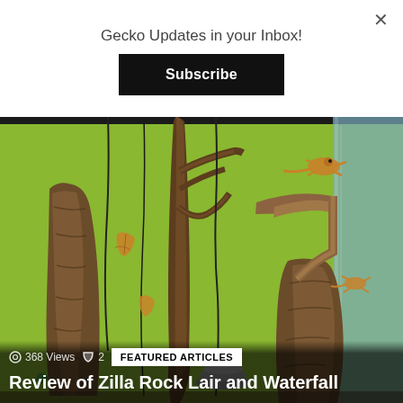Gecko Updates in your Inbox!
Subscribe
[Figure (photo): Terrarium enclosure with green background wall, multiple brown tree branches and cork bark pieces, with geckos visible on the branches and glass]
368 Views  2
FEATURED ARTICLES
Review of Zilla Rock Lair and Waterfall